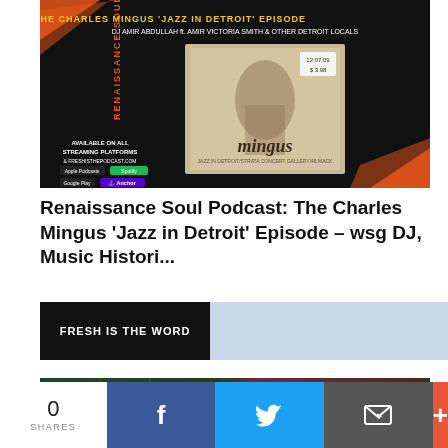[Figure (illustration): Renaissance Soul Podcast promotional image featuring Charles Mingus 'Jazz in Detroit' episode artwork. Black background with orange geometric accents, vertical text reading 'Renaissance Soul Podcast', center album cover image with 'mingus' text, subtitle text about streaming platforms and DJs.]
Renaissance Soul Podcast: The Charles Mingus 'Jazz in Detroit' Episode – wsg DJ, Music Histori...
[Figure (logo): Fresh is the Word banner: black left panel with white bold text 'FRESH IS THE WORD', right panel in light steel blue.]
[Figure (photo): Partial bottom image showing a dark green and purple music-related background, partially cut off.]
0 SHARES  [Facebook] [Twitter] [Email] [More]